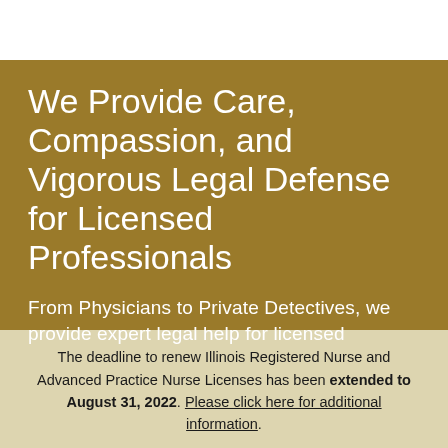We Provide Care, Compassion, and Vigorous Legal Defense for Licensed Professionals
From Physicians to Private Detectives, we provide expert legal help for licensed
The deadline to renew Illinois Registered Nurse and Advanced Practice Nurse Licenses has been extended to August 31, 2022. Please click here for additional information.